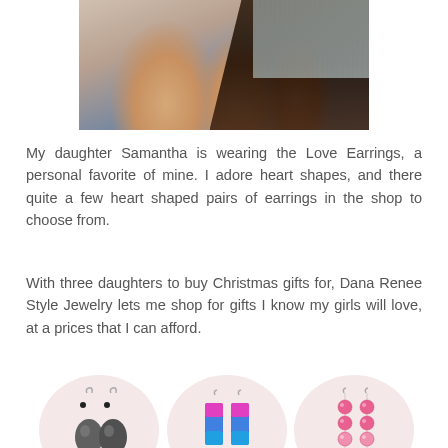[Figure (photo): Close-up photo of a person wearing earrings, showing hands and dark hair against a plaid/fabric background]
My daughter Samantha is wearing the Love Earrings, a personal favorite of mine. I adore heart shapes, and there quite a few heart shaped pairs of earrings in the shop to choose from.
With three daughters to buy Christmas gifts for, Dana Renee Style Jewelry lets me shop for gifts I know my girls will love, at a prices that I can afford.
[Figure (photo): Grid of six circular images showing different earring styles: black/grey stone earrings, colorful bar earrings, pink pearl earrings, floral earrings, black/white earrings, and turquoise heart earrings]